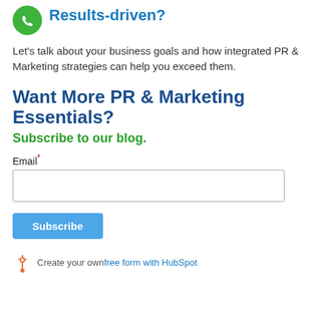[Figure (logo): Green circular phone icon]
Results-driven?
Let’s talk about your business goals and how integrated PR & Marketing strategies can help you exceed them.
Want More PR & Marketing Essentials?
Subscribe to our blog.
Email*
[Figure (screenshot): Email input text field]
[Figure (screenshot): Subscribe button]
Create your own free form with HubSpot